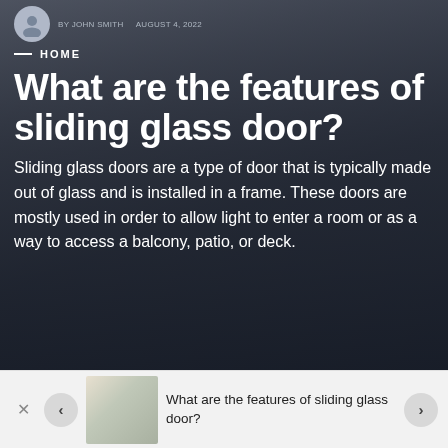[Figure (photo): Interior room photo showing sliding glass doors with natural light, kitchen area, and plants in the background, used as article hero image backdrop]
HOME
What are the features of sliding glass door?
Sliding glass doors are a type of door that is typically made out of glass and is installed in a frame. These doors are mostly used in order to allow light to enter a room or as a way to access a balcony, patio, or deck.
[Figure (photo): Thumbnail image of interior room with sliding glass door shown in bottom navigation bar]
What are the features of sliding glass door?